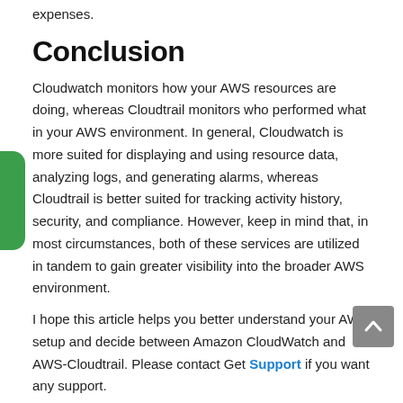expenses.
Conclusion
Cloudwatch monitors how your AWS resources are doing, whereas Cloudtrail monitors who performed what in your AWS environment. In general, Cloudwatch is more suited for displaying and using resource data, analyzing logs, and generating alarms, whereas Cloudtrail is better suited for tracking activity history, security, and compliance. However, keep in mind that, in most circumstances, both of these services are utilized in tandem to gain greater visibility into the broader AWS environment.
I hope this article helps you better understand your AWS setup and decide between Amazon CloudWatch and AWS-Cloudtrail. Please contact Get Support if you want any support.
Follow us on Facebook, Twitter, and LinkedIn for additional information.